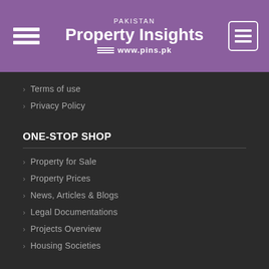PAKISTAN Property Insights www.pins.pk
Terms of use
Privacy Policy
ONE-STOP SHOP
Property for Sale
Property Prices
News, Articles & Blogs
Legal Documentations
Projects Overview
Housing Societies
NEWSROOM